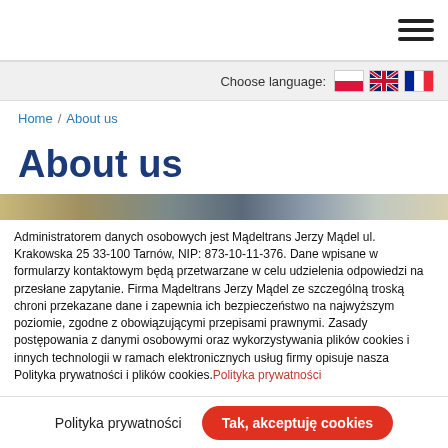Navigation menu (hamburger icon)
Choose language:
[Figure (illustration): Three flag icons for language selection: Polish, English (UK), French]
Home / About us
About us
[Figure (photo): Partial photo strip showing people, blurred/cropped]
Administratorem danych osobowych jest Mądeltrans Jerzy Mądel ul. Krakowska 25 33-100 Tarnów, NIP: 873-10-11-376. Dane wpisane w formularzy kontaktowym będą przetwarzane w celu udzielenia odpowiedzi na przesłane zapytanie. Firma Mądeltrans Jerzy Mądel ze szczególną troską chroni przekazane dane i zapewnia ich bezpieczeństwo na najwyższym poziomie, zgodne z obowiązującymi przepisami prawnymi. Zasady postępowania z danymi osobowymi oraz wykorzystywania plików cookies i innych technologii w ramach elektronicznych usług firmy opisuje nasza Polityka prywatności i plików cookies.
Polityka prywatności
Polityka prywatności | Tak, akceptuję cookies